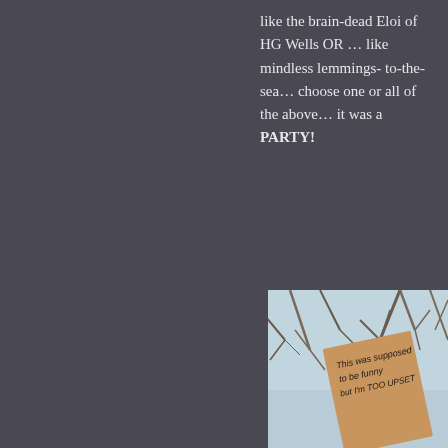like the brain-dead Eloi of HG Wells OR … like mindless lemmings-to-the-sea… choose one or all of the above… it was a PARTY!
[Figure (photo): Photograph of a cardboard protest sign held up against a sky with bare tree branches. The sign reads: 'This was supposed to be funny but I'm TOO UPSET' (last word partially cut off). The sign is handwritten in black marker on brown cardboard.]